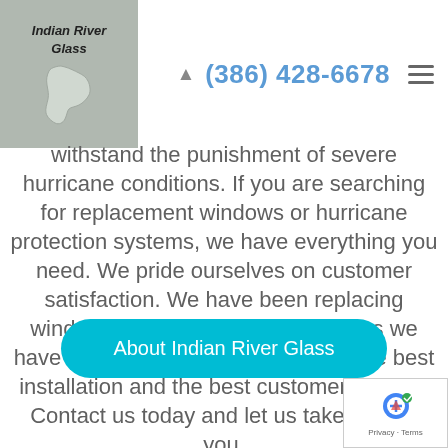Indian River Glass | (386) 428-6678
withstand the punishment of severe hurricane conditions. If you are searching for replacement windows or hurricane protection systems, we have everything you need. We pride ourselves on customer satisfaction. We have been replacing windows since 1976. Over the years we have developed the best products, the best installation and the best customer service. Contact us today and let us take care of you.
[Figure (other): Button: About Indian River Glass]
[Figure (logo): Google reviews badge with privacy and terms links]